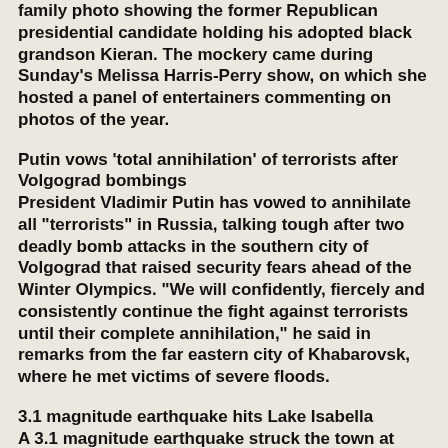family photo showing the former Republican presidential candidate holding his adopted black grandson Kieran. The mockery came during Sunday's Melissa Harris-Perry show, on which she hosted a panel of entertainers commenting on photos of the year.
Putin vows 'total annihilation' of terrorists after Volgograd bombings
President Vladimir Putin has vowed to annihilate all "terrorists" in Russia, talking tough after two deadly bomb attacks in the southern city of Volgograd that raised security fears ahead of the Winter Olympics. "We will confidently, fiercely and consistently continue the fight against terrorists until their complete annihilation," he said in remarks from the far eastern city of Khabarovsk, where he met victims of severe floods.
3.1 magnitude earthquake hits Lake Isabella
A 3.1 magnitude earthquake struck the town at about 7:45 a.m. Wednesday. Since then, there have been at least four aftershocks throughout the day.
Ariel Sharon Condition Deteriorates: Now 'Life-Threatening'
Former Israeli Prime Minister Ariel Sharon, comatose